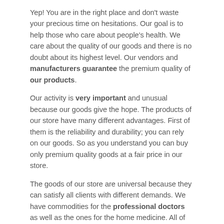Yep! You are in the right place and don't waste your precious time on hesitations. Our goal is to help those who care about people's health. We care about the quality of our goods and there is no doubt about its highest level. Our vendors and manufacturers guarantee the premium quality of our products.
Our activity is very important and unusual because our goods give the hope. The products of our store have many different advantages. First of them is the reliability and durability; you can rely on our goods. So as you understand you can buy only premium quality goods at a fair price in our store.
The goods of our store are universal because they can satisfy all clients with different demands. We have commodities for the professional doctors as well as the ones for the home medicine. All of our products have user-friendly menus and many useful options. Our goods are the real bestsellers and that is why we have numerous devoted clients all over the country.
So if you are interested in purchasing our wonderful medical equipment you can address our superb 24/7 online support system. We are always ready to help you. Remember that our store often provides many different promos and you can get a good discount.